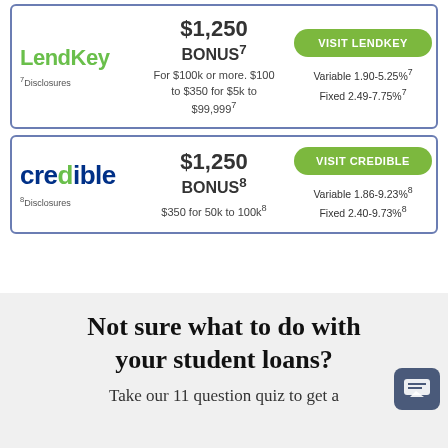| Lender | Bonus | Visit / Rates |
| --- | --- | --- |
| LendKey
7Disclosures | $1,250 BONUS7
For $100k or more. $100 to $350 for $5k to $99,9997 | VISIT LENDKEY
Variable 1.90-5.25%7
Fixed 2.49-7.75%7 |
| credible
8Disclosures | $1,250 BONUS8
$350 for 50k to 100k8 | VISIT CREDIBLE
Variable 1.86-9.23%8
Fixed 2.40-9.73%8 |
Not sure what to do with your student loans?
Take our 11 question quiz to get a